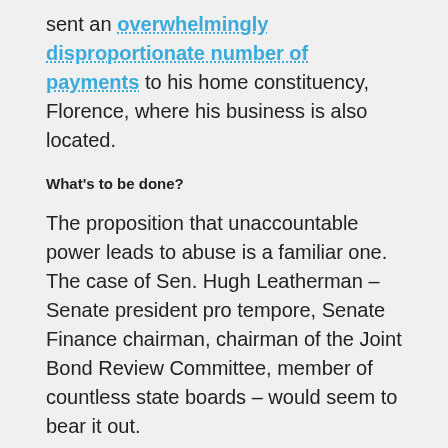sent an overwhelmingly disproportionate number of payments to his home constituency, Florence, where his business is also located.
What's to be done?
The proposition that unaccountable power leads to abuse is a familiar one. The case of Sen. Hugh Leatherman – Senate president pro tempore, Senate Finance chairman, chairman of the Joint Bond Review Committee, member of countless state boards – would seem to bear it out.
The problem, however, isn't Sen. Leatherman. The problem is the power he's been able to accrue – power accorded to him by his fellow lawmakers and, by extension, the public.
To address that will take something other than an election. In the short term, senators can replace